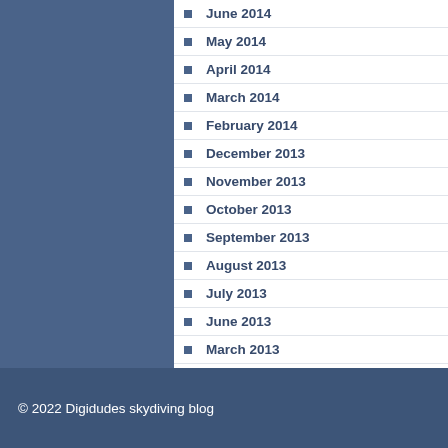June 2014
May 2014
April 2014
March 2014
February 2014
December 2013
November 2013
October 2013
September 2013
August 2013
July 2013
June 2013
March 2013
February 2013
© 2022 Digidudes skydiving blog